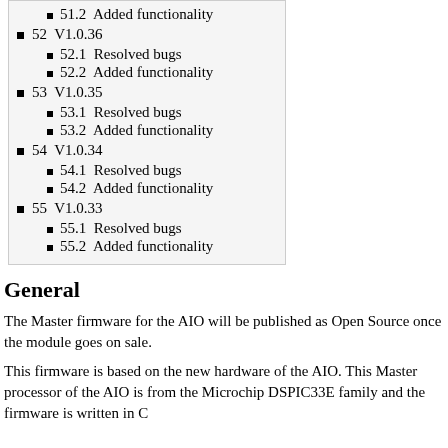51.2  Added functionality
52  V1.0.36
52.1  Resolved bugs
52.2  Added functionality
53  V1.0.35
53.1  Resolved bugs
53.2  Added functionality
54  V1.0.34
54.1  Resolved bugs
54.2  Added functionality
55  V1.0.33
55.1  Resolved bugs
55.2  Added functionality
General
The Master firmware for the AIO will be published as Open Source once the module goes on sale.
This firmware is based on the new hardware of the AIO. This Master processor of the AIO is from the Microchip DSPIC33E family and the firmware is written in C